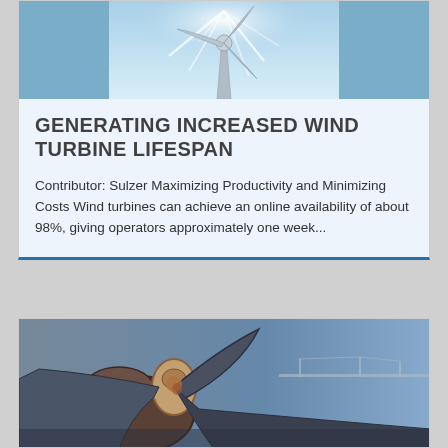[Figure (photo): Wind turbine blades viewed from below against a blue sky]
GENERATING INCREASED WIND TURBINE LIFESPAN
Contributor: Sulzer Maximizing Productivity and Minimizing Costs Wind turbines can achieve an online availability of about 98%, giving operators approximately one week...
[Figure (photo): Close-up of large industrial propeller or turbine blades with rust, bridge in background]